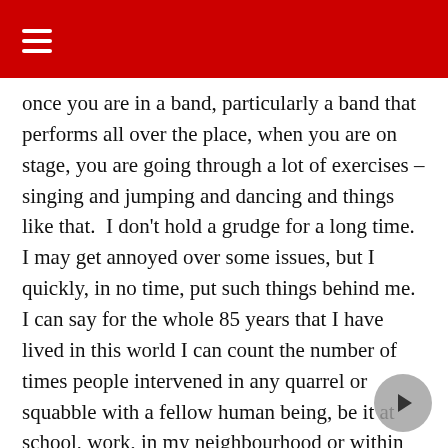☰
once you are in a band, particularly a band that performs all over the place, when you are on stage, you are going through a lot of exercises – singing and jumping and dancing and things like that.  I don't hold a grudge for a long time. I may get annoyed over some issues, but I quickly, in no time, put such things behind me.  I can say for the whole 85 years that I have lived in this world I can count the number of times people intervened in any quarrel or squabble with a fellow human being, be it at school, work, in my neighbourhood or within the family.  So my policy is: Please stop treating people as bad as they are, but keep treating people as good as you are.  So that has been my philosophy about life.  It is not that people have not been offending me one way or the other;